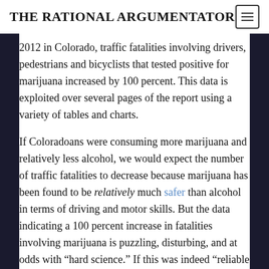THE RATIONAL ARGUMENTATOR
2012 in Colorado, traffic fatalities involving drivers, pedestrians and bicyclists that tested positive for marijuana increased by 100 percent. This data is exploited over several pages of the report using a variety of tables and charts.
If Coloradoans were consuming more marijuana and relatively less alcohol, we would expect the number of traffic fatalities to decrease because marijuana has been found to be relatively much safer than alcohol in terms of driving and motor skills. But the data indicating a 100 percent increase in fatalities involving marijuana is puzzling, disturbing, and at odds with “hard science.” If this was indeed “reliable data” it would